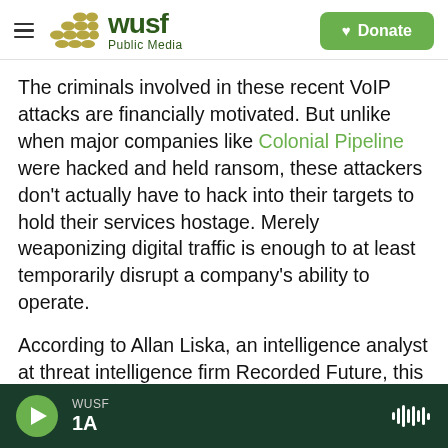[Figure (logo): WUSF Public Media logo with hamburger menu and Donate button]
The criminals involved in these recent VoIP attacks are financially motivated. But unlike when major companies like Colonial Pipeline were hacked and held ransom, these attackers don't actually have to hack into their targets to hold their services hostage. Merely weaponizing digital traffic is enough to at least temporarily disrupt a company's ability to operate.
According to Allan Liska, an intelligence analyst at threat intelligence firm Recorded Future, this method of combining ransom threats with DDoS attacks, has been around since at least 2019. Back
WUSF 1A